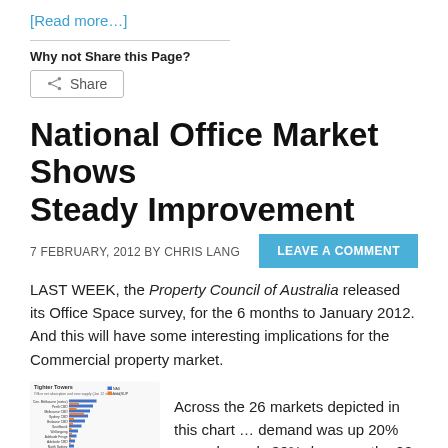[Read more…]
Why not Share this Page?
Share
National Office Market Shows Steady Improvement
7 FEBRUARY, 2012 BY CHRIS LANG
LEAVE A COMMENT
LAST WEEK, the Property Council of Australia released its Office Space survey, for the 6 months to January 2012. And this will have some interesting implications for the Commercial property market.
[Figure (bar-chart): Tighter Towers chart showing office vacancy data across 26 Australian markets]
Across the 26 markets depicted in this chart … demand was up 20% up and supply 30% down, on the 20-year average for the six-month period.